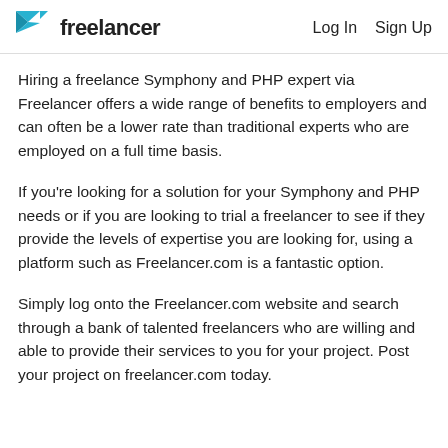Freelancer | Log In  Sign Up
Hiring a freelance Symphony and PHP expert via Freelancer offers a wide range of benefits to employers and can often be a lower rate than traditional experts who are employed on a full time basis.
If you’re looking for a solution for your Symphony and PHP needs or if you are looking to trial a freelancer to see if they provide the levels of expertise you are looking for, using a platform such as Freelancer.com is a fantastic option.
Simply log onto the Freelancer.com website and search through a bank of talented freelancers who are willing and able to provide their services to you for your project. Post your project on freelancer.com today.